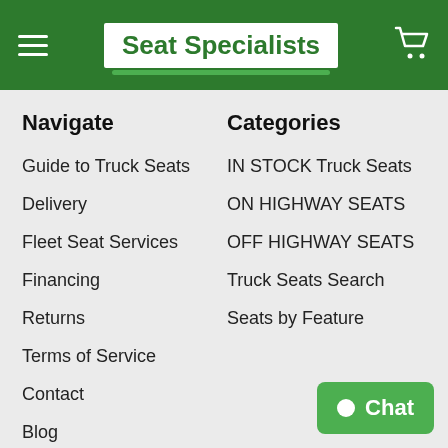Seat Specialists
Navigate
Guide to Truck Seats
Delivery
Fleet Seat Services
Financing
Returns
Terms of Service
Contact
Blog
RSS
Sitemap
Categories
IN STOCK Truck Seats
ON HIGHWAY SEATS
OFF HIGHWAY SEATS
Truck Seats Search
Seats by Feature